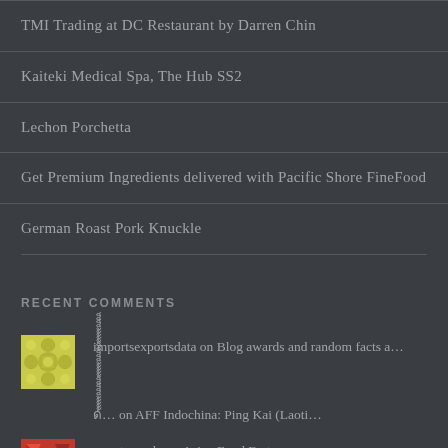TMI Trading at DC Restaurant by Darren Chin
Kaiteki Medical Spa, The Hub SS2
Lechon Porchetta
Get Premium Ingredients delivered with Pacific Shore FineFood
German Roast Pork Knuckle
RECENT COMMENTS
importsexportsdata on Blog awards and random facts a…
ด้้้้้็็็็็้้้้้็็็็ … on AFF Indochina: Ping Kai (Laoti…
mamtapandy on Asian Food Fest: